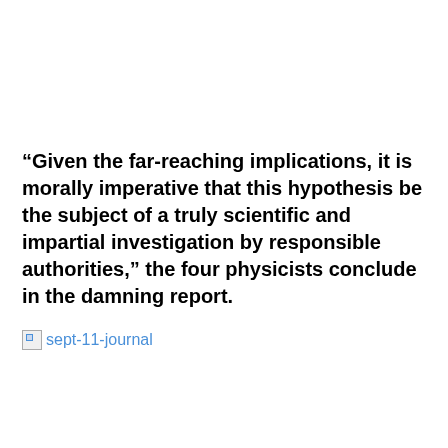“Given the far-reaching implications, it is morally imperative that this hypothesis be the subject of a truly scientific and impartial investigation by responsible authorities,” the four physicists conclude in the damning report.
[Figure (other): Broken image placeholder with alt text 'sept-11-journal']